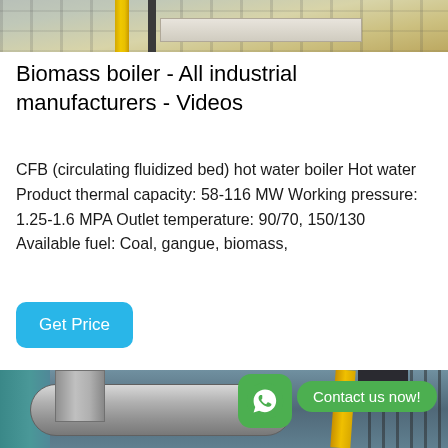[Figure (photo): Top portion of an industrial/manufacturing setting showing equipment, yellow post/column, and dark structural elements]
Biomass boiler - All industrial manufacturers - Videos
CFB (circulating fluidized bed) hot water boiler Hot water Product thermal capacity: 58-116 MW Working pressure: 1.25-1.6 MPA Outlet temperature: 90/70, 150/130 Available fuel: Coal, gangue, biomass,
[Figure (screenshot): Get Price button - blue rounded rectangle button with white text]
[Figure (photo): Industrial biomass boiler facility showing large grey pipes/ducts, yellow crane, and metal scaffolding structure. WhatsApp contact button overlay with green icon and 'Contact us now!' text.]